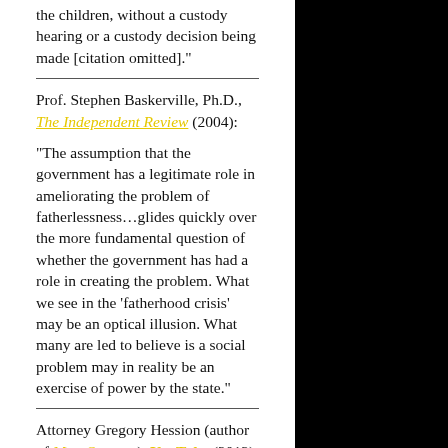the children, without a custody hearing or a custody decision being made [citation omitted]."
Prof. Stephen Baskerville, Ph.D., The Independent Review (2004):
“The assumption that the government has a legitimate role in ameliorating the problem of fatherlessness…glides quickly over the more fundamental question of whether the government has had a role in creating the problem. What we see in the ‘fatherhood crisis’ may be an optical illusion. What many are led to believe is a social problem may in reality be an exercise of power by the state.”
Attorney Gregory Hession (author of MassOutrage), YouTube (2012):
“[A]t this point, in many, many of our lives, we probably either have experienced or know somebody that’s experienced some encounter with family law, particularly, but at least the law in general. There was a time in America where that generally would not have happened. Most